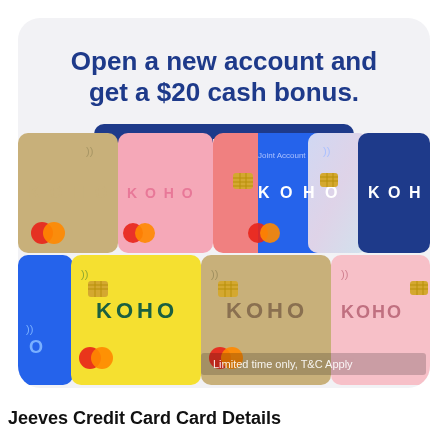Open a new account and get a $20 cash bonus.
Code: COMPAREWISE
[Figure (photo): Multiple KOHO Mastercard credit/prepaid cards in various colors (gold, pink, blue, yellow, teal, peach) arranged in a grid. Text overlay reads 'Limited time only, T&C Apply'.]
Jeeves Credit Card Card Details